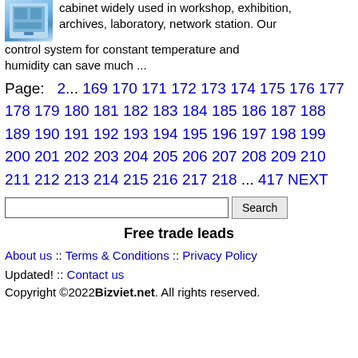cabinet widely used in workshop, exhibition, archives, laboratory, network station. Our control system for constant temperature and humidity can save much ...
Page: 2... 169 170 171 172 173 174 175 176 177 178 179 180 181 182 183 184 185 186 187 188 189 190 191 192 193 194 195 196 197 198 199 200 201 202 203 204 205 206 207 208 209 210 211 212 213 214 215 216 217 218 ... 417 NEXT
Search [input field]
Free trade leads
About us :: Terms & Conditions :: Privacy Policy Updated! :: Contact us Copyright ©2022 Bizviet.net. All rights reserved.